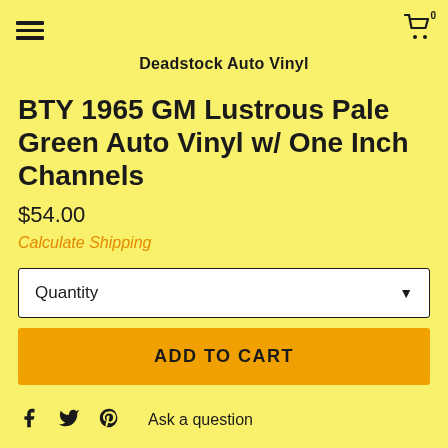Deadstock Auto Vinyl
BTY 1965 GM Lustrous Pale Green Auto Vinyl w/ One Inch Channels
$54.00
Calculate Shipping
Quantity
ADD TO CART
Ask a question